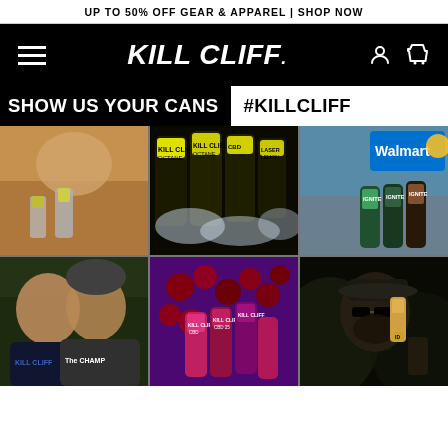UP TO 50% OFF GEAR & APPAREL | SHOP NOW
[Figure (logo): Kill Cliff logo and navigation bar with hamburger menu, Kill Cliff brand logo in white italic text, user account icon and cart icon on black background]
SHOW US YOUR CANS #KILLCLIFF
[Figure (photo): Woman in yellow bikini smiling and holding Kill Cliff CBD can outdoors]
[Figure (photo): Multiple Kill Cliff Octane, CBD, and Laser Lemon cans on ice]
[Figure (photo): Three Kill Cliff Ignite cans in front of Walmart store exterior]
[Figure (photo): Two men smiling wearing Kill Cliff branded shirts]
[Figure (photo): Kill Cliff CBD cans among fresh cherries and purple background]
[Figure (photo): Man with beard drinking Kill Cliff can outdoors in dark setting]